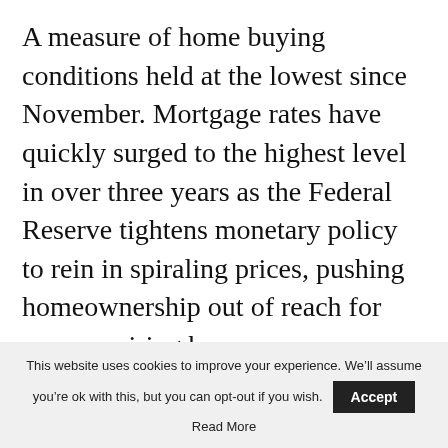A measure of home buying conditions held at the lowest since November. Mortgage rates have quickly surged to the highest level in over three years as the Federal Reserve tightens monetary policy to rein in spiraling prices, pushing homeownership out of reach for many aspiring buyers.
“These headwinds are expected to persist in the short term and may potentially dampen confidence as well as cool spending further in the months ahead,” Lynn Franco, senior director of
This website uses cookies to improve your experience. We’ll assume you’re ok with this, but you can opt-out if you wish. Accept Read More